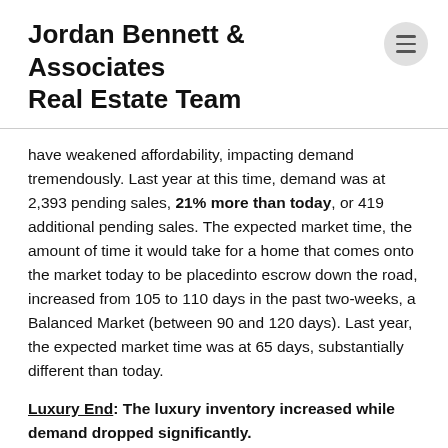Jordan Bennett & Associates Real Estate Team
have weakened affordability, impacting demand tremendously. Last year at this time, demand was at 2,393 pending sales, 21% more than today, or 419 additional pending sales. The expected market time, the amount of time it would take for a home that comes onto the market today to be placedinto escrow down the road, increased from 105 to 110 days in the past two-weeks, a Balanced Market (between 90 and 120 days). Last year, the expected market time was at 65 days, substantially different than today.
Luxury End: The luxury inventory increased while demand dropped significantly.
In the past two weeks, demand for homes above $1.25